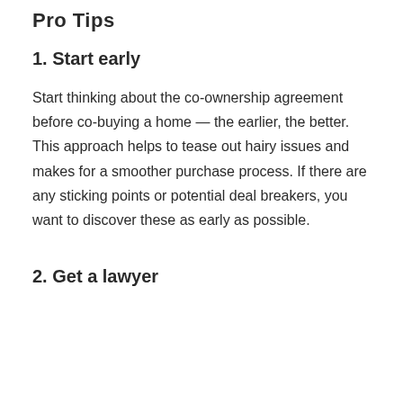Pro Tips
1. Start early
Start thinking about the co-ownership agreement before co-buying a home — the earlier, the better. This approach helps to tease out hairy issues and makes for a smoother purchase process. If there are any sticking points or potential deal breakers, you want to discover these as early as possible.
2. Get a lawyer